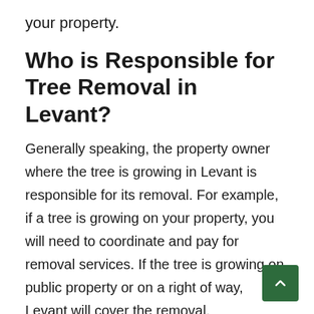your property.
Who is Responsible for Tree Removal in Levant?
Generally speaking, the property owner where the tree is growing in Levant is responsible for its removal. For example, if a tree is growing on your property, you will need to coordinate and pay for removal services. If the tree is growing on public property or on a right of way, Levant will cover the removal.